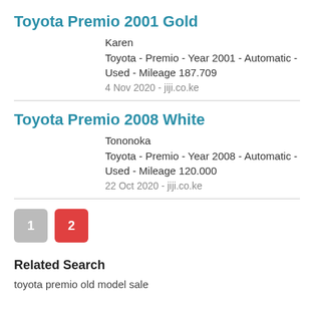Toyota Premio 2001 Gold
Karen
Toyota - Premio - Year 2001 - Automatic - Used - Mileage 187.709
4 Nov 2020 - jiji.co.ke
Toyota Premio 2008 White
Tononoka
Toyota - Premio - Year 2008 - Automatic - Used - Mileage 120.000
22 Oct 2020 - jiji.co.ke
1  2
Related Search
toyota premio old model sale